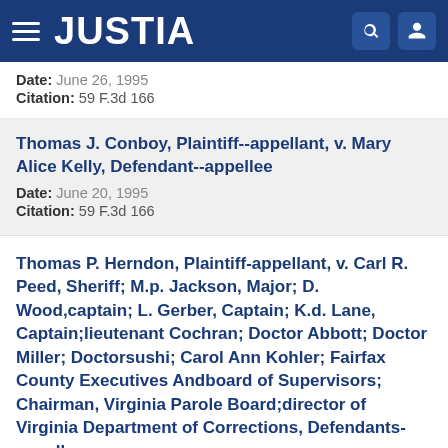JUSTIA
Date: June 26, 1995
Citation: 59 F.3d 166
Thomas J. Conboy, Plaintiff--appellant, v. Mary Alice Kelly, Defendant--appellee
Date: June 20, 1995
Citation: 59 F.3d 166
Thomas P. Herndon, Plaintiff-appellant, v. Carl R. Peed, Sheriff; M.p. Jackson, Major; D. Wood,captain; L. Gerber, Captain; K.d. Lane, Captain;lieutenant Cochran; Doctor Abbott; Doctor Miller; Doctorsushi; Carol Ann Kohler; Fairfax County Executives Andboard of Supervisors; Chairman, Virginia Parole Board;director of Virginia Department of Corrections, Defendants-appellees